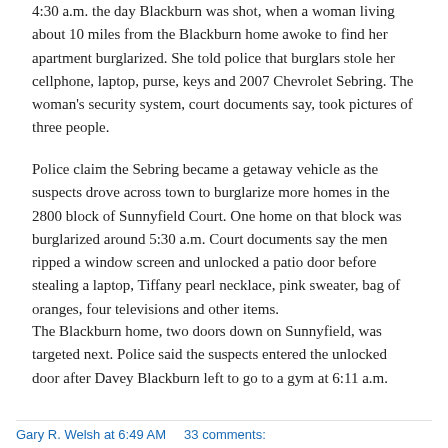4:30 a.m. the day Blackburn was shot, when a woman living about 10 miles from the Blackburn home awoke to find her apartment burglarized. She told police that burglars stole her cellphone, laptop, purse, keys and 2007 Chevrolet Sebring. The woman's security system, court documents say, took pictures of three people.
Police claim the Sebring became a getaway vehicle as the suspects drove across town to burglarize more homes in the 2800 block of Sunnyfield Court. One home on that block was burglarized around 5:30 a.m. Court documents say the men ripped a window screen and unlocked a patio door before stealing a laptop, Tiffany pearl necklace, pink sweater, bag of oranges, four televisions and other items.
The Blackburn home, two doors down on Sunnyfield, was targeted next. Police said the suspects entered the unlocked door after Davey Blackburn left to go to a gym at 6:11 a.m.
Gary R. Welsh at 6:49 AM    33 comments: